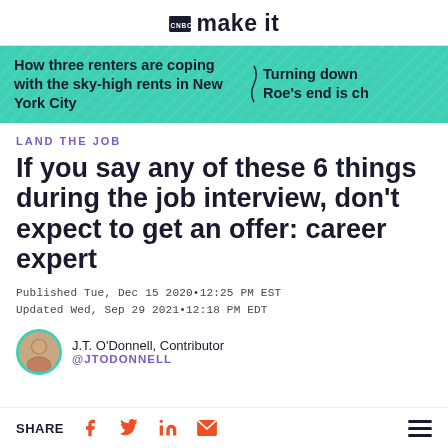CNBC make it
[Figure (infographic): Teal banner with two article teasers: 'How three renters are coping with the sky-high rents in New York City' and 'Turning down Roe's end is ch']
LAND THE JOB
If you say any of these 6 things during the job interview, don't expect to get an offer: career expert
Published Tue, Dec 15 2020•12:25 PM EST
Updated Wed, Sep 29 2021•12:18 PM EDT
J.T. O'Donnell, Contributor
@JTODONNELL
SHARE